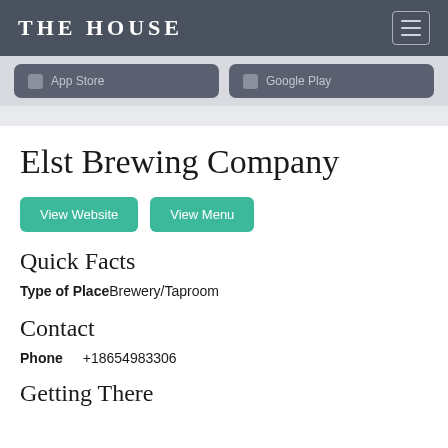THE HOUSE
[Figure (screenshot): App Store and Google Play download buttons on a gray background bar]
Elst Brewing Company
View Website | View Menu
Quick Facts
Type of Place: Brewery/Taproom
Contact
Phone +18654983306
Getting There